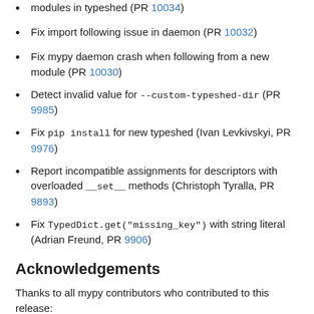Fix import following issue in daemon (PR 10032)
Fix mypy daemon crash when following from a new module (PR 10030)
Detect invalid value for --custom-typeshed-dir (PR 9985)
Fix pip install for new typeshed (Ivan Levkivskyi, PR 9976)
Report incompatible assignments for descriptors with overloaded __set__ methods (Christoph Tyralla, PR 9893)
Fix TypedDict.get("missing_key") with string literal (Adrian Freund, PR 9906)
Acknowledgements
Thanks to all mypy contributors who contributed to this release:
Aaron Ecay
Adam Wooden